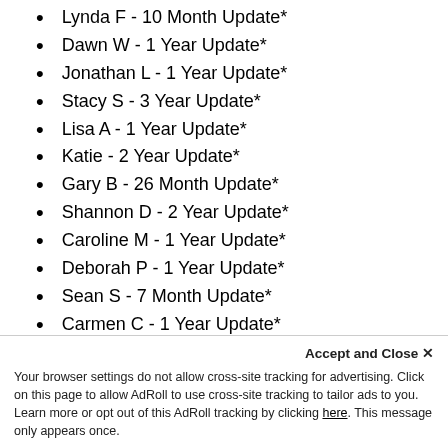Lynda F - 10 Month Update*
Dawn W - 1 Year Update*
Jonathan L - 1 Year Update*
Stacy S - 3 Year Update*
Lisa A - 1 Year Update*
Katie - 2 Year Update*
Gary B - 26 Month Update*
Shannon D - 2 Year Update*
Caroline M - 1 Year Update*
Deborah P - 1 Year Update*
Sean S - 7 Month Update*
Carmen C - 1 Year Update*
Nashay J - 1 Year Update*
Savanna L - 2 Year Update*
Karen R - 2 Year Update*
Maria L - 3 Year Update*
Your browser settings do not allow cross-site tracking for advertising. Click on this page to allow AdRoll to use cross-site tracking to tailor ads to you. Learn more or opt out of this AdRoll tracking by clicking here. This message only appears once.